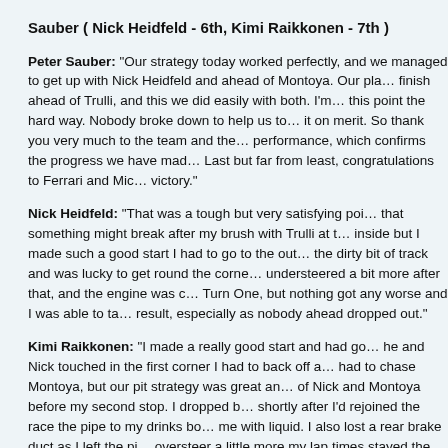Sauber ( Nick Heidfeld - 6th, Kimi Raikkonen - 7th )
Peter Sauber: "Our strategy today worked perfectly, and we managed to get up with Nick Heidfeld and ahead of Montoya. Our plan was to finish ahead of Trulli, and this we did easily with both. I'm proud we did this point the hard way. Nobody broke down to help us to it; we earned it on merit. So thank you very much to the team and the drivers for a performance, which confirms the progress we have made this season. Last but far from least, congratulations to Ferrari and Mich for a great victory."
Nick Heidfeld: "That was a tough but very satisfying point. I worried that something might break after my brush with Trulli at the start. I was inside but I made such a good start I had to go to the outside, into the dirty bit of track and was lucky to get round the corner safely. I understeered a bit more after that, and the engine was cutting out after Turn One, but nothing got any worse and I was able to take a satisfying result, especially as nobody ahead dropped out."
Kimi Raikkonen: "I made a really good start and had go... When he and Nick touched in the first corner I had to back off a little, then I had to chase Montoya, but our pit strategy was great and I got ahead of Nick and Montoya before my second stop. I dropped b... Shortly after I'd rejoined the race the pipe to my drinks bo... me with liquid. I also lost a rear brake duct as I left the pi... oversteer a little more my lap times stayed the same, so..."